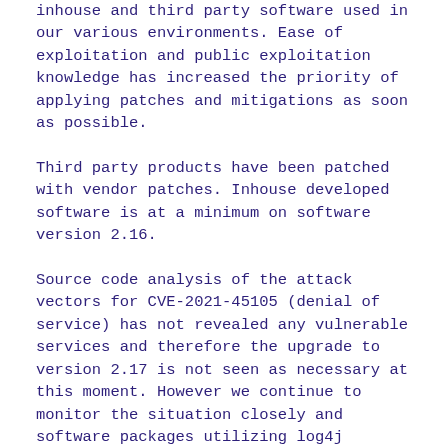inhouse and third party software used in our various environments. Ease of exploitation and public exploitation knowledge has increased the priority of applying patches and mitigations as soon as possible.
Third party products have been patched with vendor patches. Inhouse developed software is at a minimum on software version 2.16.
Source code analysis of the attack vectors for CVE-2021-45105 (denial of service) has not revealed any vulnerable services and therefore the upgrade to version 2.17 is not seen as necessary at this moment. However we continue to monitor the situation closely and software packages utilizing log4j version 2.17 are ready to deploy at a moment's notice, if needed.
Signicat has also kept track of the patch status